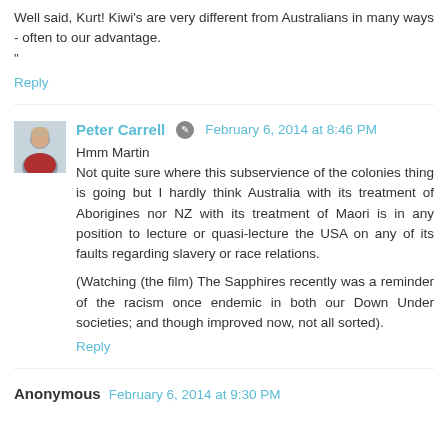Well said, Kurt! Kiwi's are very different from Australians in many ways - often to our advantage.
"
Reply
[Figure (photo): Small avatar photo of Peter Carrell, a man in a red shirt]
Peter Carrell  February 6, 2014 at 8:46 PM
Hmm Martin
Not quite sure where this subservience of the colonies thing is going but I hardly think Australia with its treatment of Aborigines nor NZ with its treatment of Maori is in any position to lecture or quasi-lecture the USA on any of its faults regarding slavery or race relations.

(Watching (the film) The Sapphires recently was a reminder of the racism once endemic in both our Down Under societies; and though improved now, not all sorted).
Reply
Anonymous  February 6, 2014 at 9:30 PM